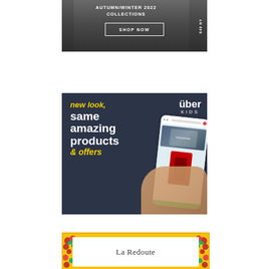[Figure (photo): Advertisement banner for Autumn/Winter 2022 Collections with 'SHOP NOW' button and vertical logo on right side. Dark urban background.]
[Figure (photo): Uber Kids advertisement with dark background. Text reads 'new look, same amazing products & offers' with yellow and white typography. Uber Kids logo top right. Hand holding phone showing Uber Kids app on right side.]
[Figure (photo): La Redoute advertisement with yellow background decorated with tropical flowers, white inner box containing 'La Redoute' brand name in serif font.]